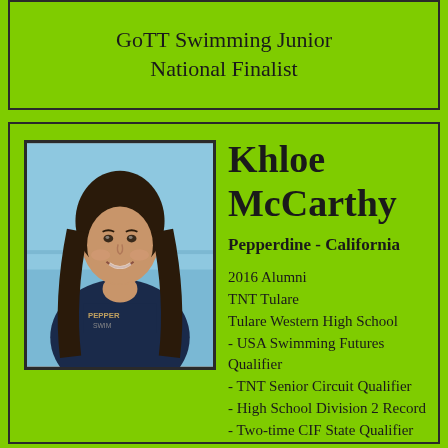GoTT Swimming Junior National Finalist
[Figure (photo): Headshot photo of Khloe McCarthy wearing a Pepperdine swim team shirt, smiling, with long dark hair, in front of a pool background.]
Khloe McCarthy
Pepperdine - California
2016 Alumni
TNT Tulare
Tulare Western High School
- USA Swimming Futures Qualifier
- TNT Senior Circuit Qualifier
- High School Division 2 Record
- Two-time CIF State Qualifier